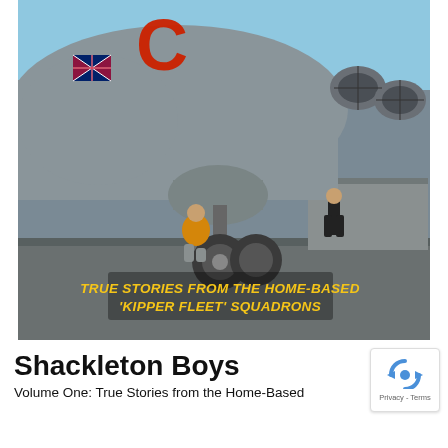[Figure (photo): Colour photograph of a large RAF Avro Shackleton maritime patrol aircraft on a tarmac apron. The aircraft is grey with a large red letter 'C' and a Union Jack on the fuselage nose. A ground crew member in an orange/yellow life-vest and grey overalls crouches near the main undercarriage wheel, while a man in a dark suit walks in the background. The photo has overlay text reading 'TRUE STORIES FROM THE HOME-BASED 'KIPPER FLEET' SQUADRONS' in bold italic yellow lettering.]
Shackleton Boys
Volume One: True Stories from the Home-Based